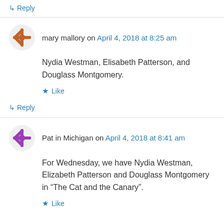↳ Reply
mary mallory on April 4, 2018 at 8:25 am
Nydia Westman, Elisabeth Patterson, and Douglass Montgomery.
Like
↳ Reply
Pat in Michigan on April 4, 2018 at 8:41 am
For Wednesday, we have Nydia Westman, Elizabeth Patterson and Douglass Montgomery in “The Cat and the Canary”.
Like